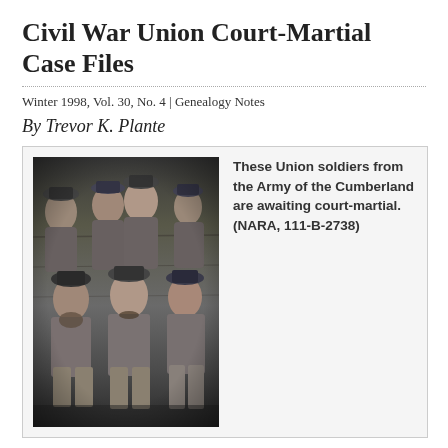Civil War Union Court-Martial Case Files
Winter 1998, Vol. 30, No. 4 | Genealogy Notes
By Trevor K. Plante
[Figure (photo): Black and white photograph of Union soldiers from the Army of the Cumberland awaiting court-martial. Group of soldiers posed together, some standing, some seated.]
These Union soldiers from the Army of the Cumberland are awaiting court-martial. (NARA, 111-B-2738)